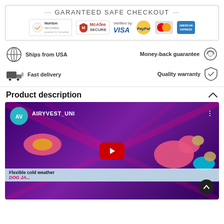[Figure (infographic): Guaranteed Safe Checkout banner with Norton Secured, McAfee SECURE, Verified by VISA, PayPal, MasterCard, and American Express logos inside a bordered box]
[Figure (infographic): Trust icons row: Ships from USA (globe icon), Money-back guarantee (refresh/coin icon), Fast delivery (truck icon), Quality warranty (shield icon)]
Product description
[Figure (screenshot): YouTube video thumbnail for AIRYVEST_UNI channel showing dogs wearing pink and teal dog jackets on a purple starfield background. Text reads: Flexible cold weather DOG JA...]